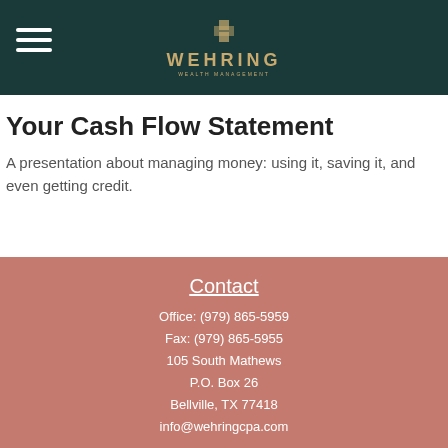WEHRING WEALTH MANAGEMENT
Your Cash Flow Statement
A presentation about managing money: using it, saving it, and even getting credit.
Contact
Office: (979) 865-5959
Fax: (979) 865-5955
105 South Mathews
P.O. Box 26
Bellville, TX 77418
info@wehringcpa.com
Quick Links